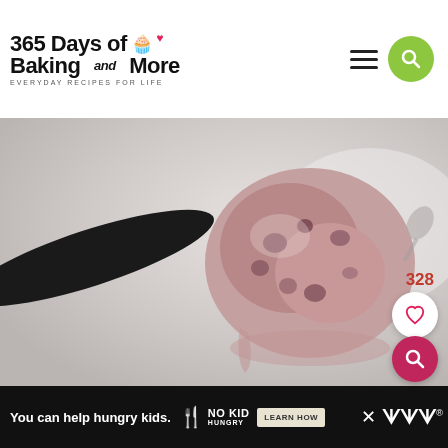365 Days of Baking and More — EVERYDAY RECIPES FOR LIFE
[Figure (photo): Close-up photo of a scoop of berry ice cream on a black ice cream scoop, placed on a light-colored surface. The ice cream is pinkish-purple with berry chunks and appears partially melted.]
328
You can help hungry kids. NO KID HUNGRY LEARN HOW